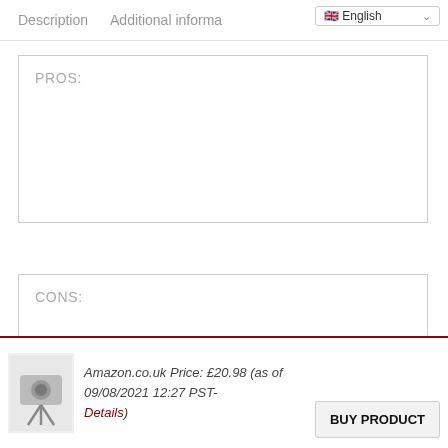Description   Additional information   English
PROS:
CONS:
Amazon.co.uk Price: £20.98 (as of 09/08/2021 12:27 PST- Details)
[Figure (photo): Small product photo of a phone camera lens attachment with tripod]
BUY PRODUCT